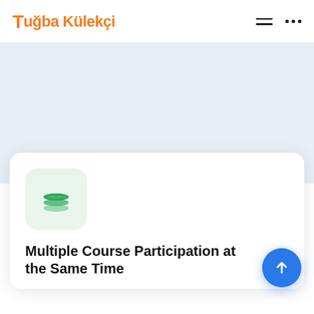Tuğba Külekçi
[Figure (screenshot): Light blue/grey background area below the header navigation]
[Figure (illustration): White card with a green layers icon (stack of layers) inside a rounded light-green square badge]
Multiple Course Participation at the Same Time